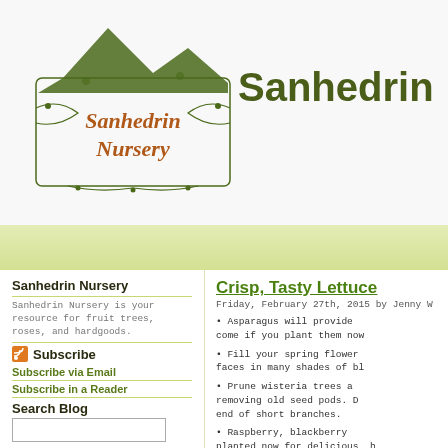[Figure (logo): Sanhedrin Nursery logo with decorative botanical border and green mountain silhouette]
Sanhedrin
Sanhedrin Nursery
Sanhedrin Nursery is your resource for fruit trees, roses, and hardgoods.
Subscribe
Subscribe via Email
Subscribe in a Reader
Search Blog
Categories
Garden Article (435)
Willits (380)
Archives
Crisp, Tasty Lettuce
Friday, February 27th, 2015 by Jenny W
• Asparagus will provide come if you plant them now
• Fill your spring flower faces in many shades of bl
• Prune wisteria trees a removing old seed pods. D end of short branches.
• Raspberry, blackberry planted now for delicious, h
• Cut back suckers on t then you can bring the frag